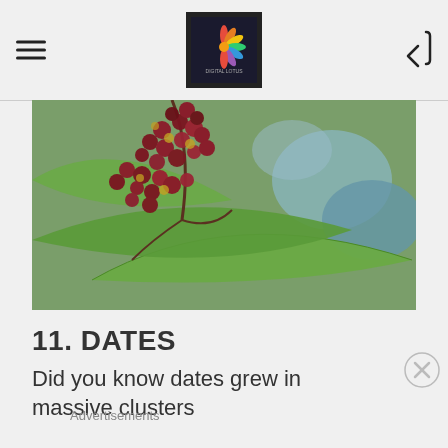[Figure (photo): Close-up photo of red-purple flower clusters with green leaves, bokeh background.]
11. DATES
Did you know dates grew in massive clusters
Advertisements